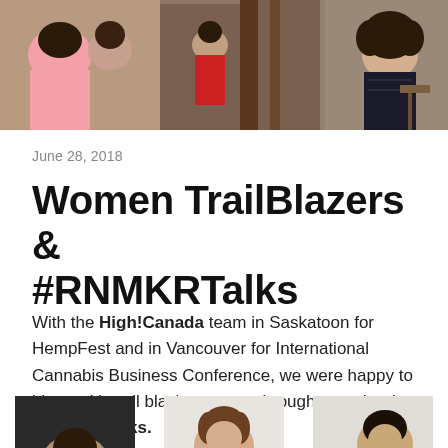[Figure (photo): Event photo showing people at a gathering, one person in pink shirt photographing a speaker on stage with wooden backdrop]
June 28, 2018
Women TrailBlazers & #RNMKRTalks
With the High!Canada team in Saskatoon for HempFest and in Vancouver for International Cannabis Business Conference, we were happy to blaze with trail blazing women brought together by #RNMKRTalks.
[Figure (photo): Three portrait photos of women/speakers at the bottom of the page]